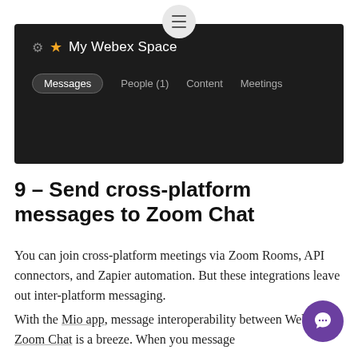[Figure (screenshot): Screenshot of Cisco Webex Space interface showing dark header with gear icon, star icon, 'My Webex Space' title, and navigation tabs: Messages (active), People (1), Content, Meetings. There is also a hamburger menu button at the top center.]
9 – Send cross-platform messages to Zoom Chat
You can join cross-platform meetings via Zoom Rooms, API connectors, and Zapier automation. But these integrations leave out inter-platform messaging.
With the Mio app, message interoperability between Webex and Zoom Chat is a breeze. When you message someone from Webex and they are on Zoom, they will be